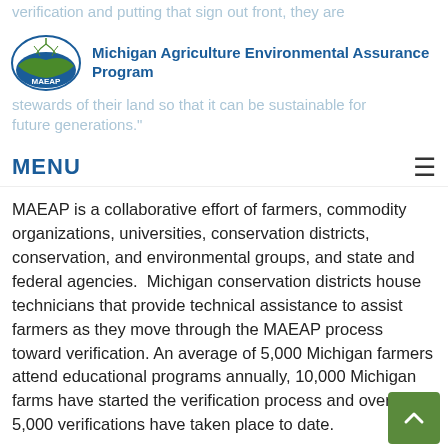verification and putting that sign out front, they are stewards of their land so that it can be sustainable for future generations."
[Figure (logo): MAEAP logo with green and blue oval shield design]
Michigan Agriculture Environmental Assurance Program
MENU
MAEAP is a collaborative effort of farmers, commodity organizations, universities, conservation districts, conservation, and environmental groups, and state and federal agencies.  Michigan conservation districts house technicians that provide technical assistance to assist farmers as they move through the MAEAP process toward verification. An average of 5,000 Michigan farmers attend educational programs annually, 10,000 Michigan farms have started the verification process and over 5,000 verifications have taken place to date.
To become MAEAP verified, farmers must complete three comprehensive steps which include attending an educational seminar, conducting a thorough on-farm